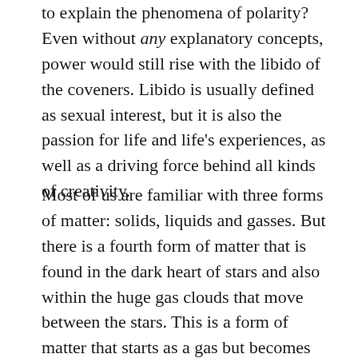to explain the phenomena of polarity? Even without any explanatory concepts, power would still rise with the libido of the coveners. Libido is usually defined as sexual interest, but it is also the passion for life and life's experiences, as well as a driving force behind all kinds of creativity.
Most of us are familiar with three forms of matter: solids, liquids and gasses. But there is a fourth form of matter that is found in the dark heart of stars and also within the huge gas clouds that move between the stars. This is a form of matter that starts as a gas but becomes ionized by extreme heat and is called plasma. If the temperature of the material is very high, all the electrons separate from their nuclei. The particles which